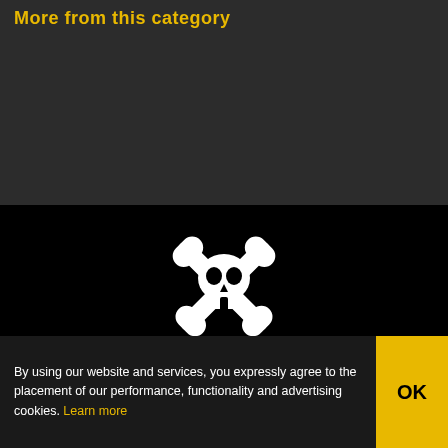More from this category
[Figure (logo): White skull with crossed wrenches logo icon centered on black background]
NEVER MISS A HACK
[Figure (infographic): Row of five social media icon buttons: Facebook, Twitter, YouTube, RSS feed, Email — dark grey rounded squares on black background]
By using our website and services, you expressly agree to the placement of our performance, functionality and advertising cookies. Learn more